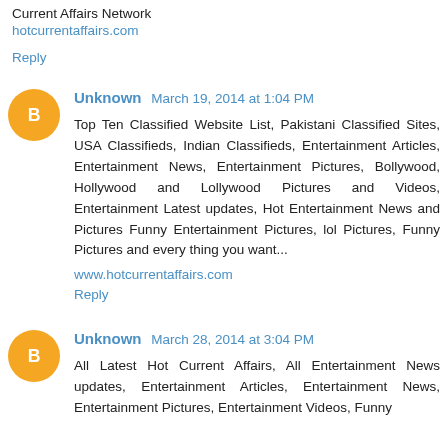Current Affairs Network
hotcurrentaffairs.com
Reply
Unknown March 19, 2014 at 1:04 PM
Top Ten Classified Website List, Pakistani Classified Sites, USA Classifieds, Indian Classifieds, Entertainment Articles, Entertainment News, Entertainment Pictures, Bollywood, Hollywood and Lollywood Pictures and Videos, Entertainment Latest updates, Hot Entertainment News and Pictures Funny Entertainment Pictures, lol Pictures, Funny Pictures and every thing you want...
www.hotcurrentaffairs.com
Reply
Unknown March 28, 2014 at 3:04 PM
All Latest Hot Current Affairs, All Entertainment News updates, Entertainment Articles, Entertainment News, Entertainment Pictures, Entertainment Videos, Funny